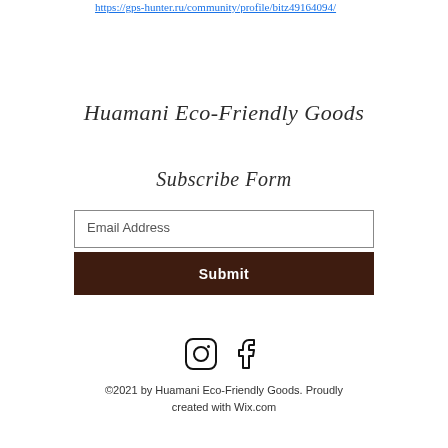https://gps-hunter.ru/community/profile/bitz49164094/
Huamani Eco-Friendly Goods
Subscribe Form
Email Address
Submit
[Figure (other): Instagram and Facebook social media icons]
©2021 by Huamani Eco-Friendly Goods. Proudly created with Wix.com